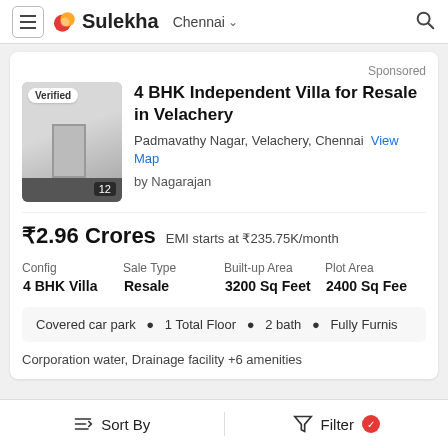Sulekha  Chennai
Sponsored
4 BHK Independent Villa for Resale in Velachery
Padmavathy Nagar, Velachery, Chennai  View Map
by Nagarajan
₹2.96 Crores  EMI starts at ₹235.75K/month
| Config | Sale Type | Built-up Area | Plot Area |
| --- | --- | --- | --- |
| 4 BHK Villa | Resale | 3200 Sq Feet | 2400 Sq Fee |
Covered car park  •  1 Total Floor  •  2 bath  •  Fully Furnish
Corporation water, Drainage facility +6 amenities
Sort By    Filter